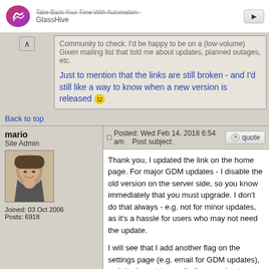[Figure (screenshot): GlassHive advertisement banner with logo and button]
Community to check. I'd be happy to be on a (low-volume) Gixen mailing list that told me about updates, planned outages, etc.
Just to mention that the links are still broken - and I'd still like a way to know when a new version is released 🙂
Back to top
mario
Site Admin
Joined: 03 Oct 2006
Posts: 6918
Posted: Wed Feb 14, 2018 6:54 am   Post subject:
Thank you, I updated the link on the home page. For major GDM updates - I disable the old version on the server side, so you know immediately that you must upgrade. I don't do that always - e.g. not for minor updates, as it's a hassle for users who may not need the update.

I will see that I add another flag on the settings page (e.g. email for GDM updates), as I don't want to email all users about something they may not use at all.
Back to top
22dollar
Guest
Posted: Mon Mar 12, 2018 5:02 pm   Post subject: 32 BIT Desktop Manager
[quote="mario"]32-bit version is now available at: ....